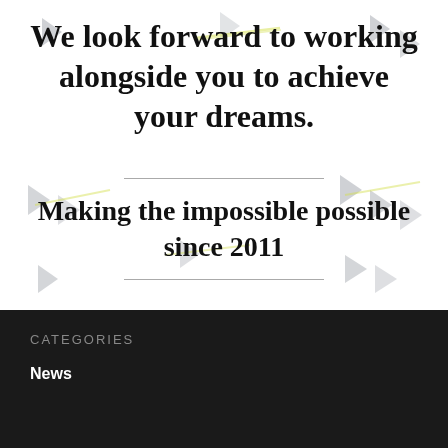We look forward to working alongside you to achieve your dreams.
Making the impossible possible since 2011
CATEGORIES
News